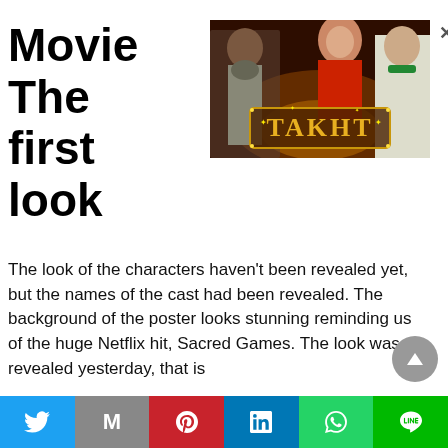Movie The first look
[Figure (photo): Takht movie promotional poster showing actors in Mughal-era costumes with the title TAKHT in golden letters]
The look of the characters haven't been revealed yet, but the names of the cast had been revealed. The background of the poster looks stunning reminding us of the huge Netflix hit, Sacred Games. The look was revealed yesterday, that is
[Figure (other): Social media share bar with Twitter, Gmail, Pinterest, LinkedIn, WhatsApp, and LINE buttons]